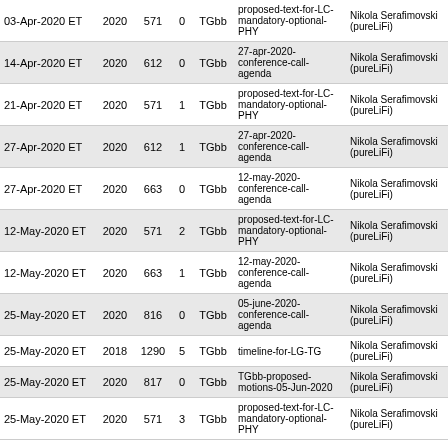| 03-Apr-2020 ET | 2020 | 571 | 0 | TGbb | proposed-text-for-LC-mandatory-optional-PHY | Nikola Serafimovski (pureLiFi) |
| 14-Apr-2020 ET | 2020 | 612 | 0 | TGbb | 27-apr-2020-conference-call-agenda | Nikola Serafimovski (pureLiFi) |
| 21-Apr-2020 ET | 2020 | 571 | 1 | TGbb | proposed-text-for-LC-mandatory-optional-PHY | Nikola Serafimovski (pureLiFi) |
| 27-Apr-2020 ET | 2020 | 612 | 1 | TGbb | 27-apr-2020-conference-call-agenda | Nikola Serafimovski (pureLiFi) |
| 27-Apr-2020 ET | 2020 | 663 | 0 | TGbb | 12-may-2020-conference-call-agenda | Nikola Serafimovski (pureLiFi) |
| 12-May-2020 ET | 2020 | 571 | 2 | TGbb | proposed-text-for-LC-mandatory-optional-PHY | Nikola Serafimovski (pureLiFi) |
| 12-May-2020 ET | 2020 | 663 | 1 | TGbb | 12-may-2020-conference-call-agenda | Nikola Serafimovski (pureLiFi) |
| 25-May-2020 ET | 2020 | 816 | 0 | TGbb | 05-june-2020-conference-call-agenda | Nikola Serafimovski (pureLiFi) |
| 25-May-2020 ET | 2018 | 1290 | 5 | TGbb | timeline-for-LG-TG | Nikola Serafimovski (pureLiFi) |
| 25-May-2020 ET | 2020 | 817 | 0 | TGbb | TGbb-proposed-motions-05-Jun-2020 | Nikola Serafimovski (pureLiFi) |
| 25-May-2020 ET | 2020 | 571 | 3 | TGbb | proposed-text-for-LC-mandatory-optional-PHY | Nikola Serafimovski (pureLiFi) |